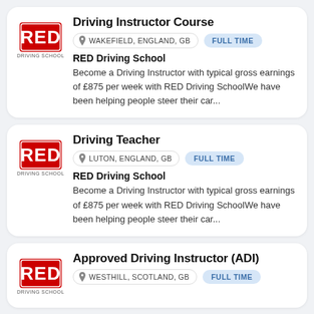Driving Instructor Course
WAKEFIELD, ENGLAND, GB
FULL TIME
RED Driving School
Become a Driving Instructor with typical gross earnings of £875 per week with RED Driving SchoolWe have been helping people steer their car...
Driving Teacher
LUTON, ENGLAND, GB
FULL TIME
RED Driving School
Become a Driving Instructor with typical gross earnings of £875 per week with RED Driving SchoolWe have been helping people steer their car...
Approved Driving Instructor (ADI)
WESTHILL, SCOTLAND, GB
FULL TIME